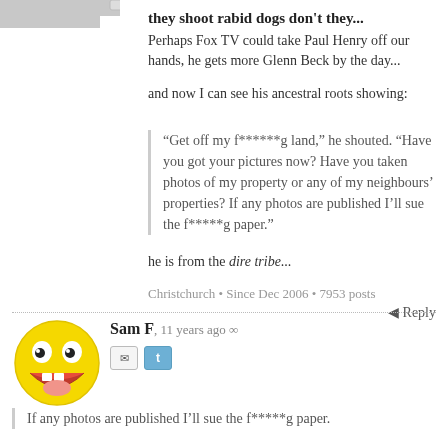they shoot rabid dogs don't they...
Perhaps Fox TV could take Paul Henry off our hands, he gets more Glenn Beck by the day...
and now I can see his ancestral roots showing:
“Get off my f******g land,” he shouted. “Have you got your pictures now? Have you taken photos of my property or any of my neighbours’ properties? If any photos are published I’ll sue the f*****g paper.”
he is from the dire tribe...
Christchurch • Since Dec 2006 • 7953 posts
Reply
Sam F, 11 years ago
If any photos are published I’ll sue the f*****g paper.